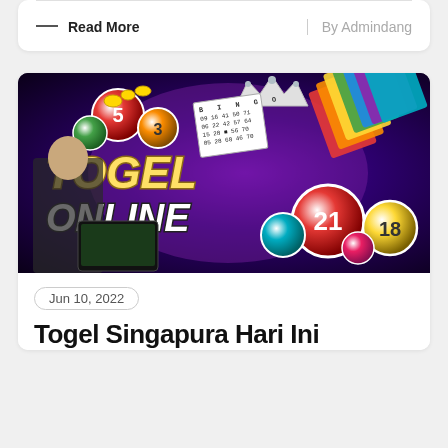— Read More
By Admindang
[Figure (photo): Togel Online promotional banner with lottery balls, bingo cards, playing cards fan, crown, and a woman giving thumbs up]
Jun 10, 2022
Togel Singapura Hari Ini